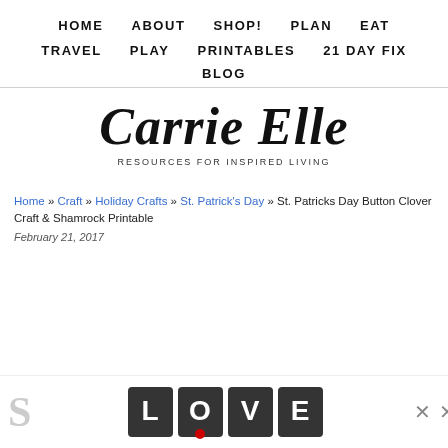HOME   ABOUT   SHOP!   PLAN   EAT   TRAVEL   PLAY   PRINTABLES   21 DAY FIX   BLOG
[Figure (logo): Carrie Elle logo with script font and tagline 'RESOURCES FOR INSPIRED LIVING']
Home » Craft » Holiday Crafts » St. Patrick's Day » St. Patricks Day Button Clover Craft & Shamrock Printable
February 21, 2017
[Figure (advertisement): LOVE decorative text advertisement with close buttons]